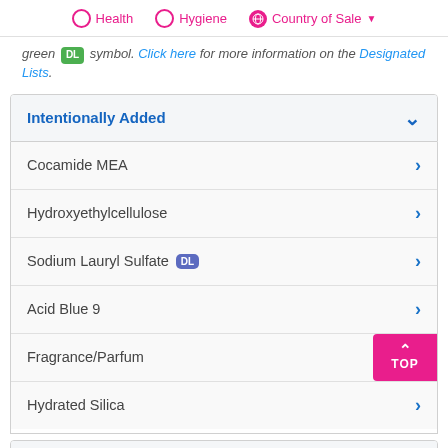Health   Hygiene   Country of Sale
green DL symbol. Click here for more information on the Designated Lists.
Intentionally Added
Cocamide MEA
Hydroxyethylcellulose
Sodium Lauryl Sulfate DL
Acid Blue 9
Fragrance/Parfum
Hydrated Silica
Fragrance Component